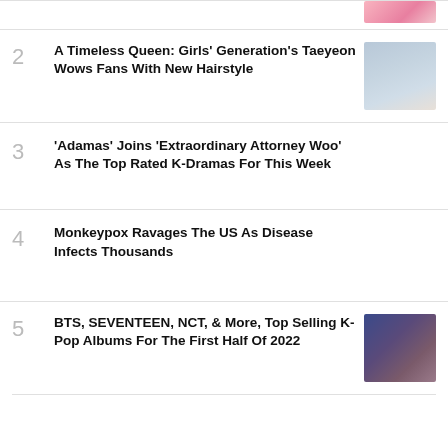2 A Timeless Queen: Girls' Generation's Taeyeon Wows Fans With New Hairstyle
3 'Adamas' Joins 'Extraordinary Attorney Woo' As The Top Rated K-Dramas For This Week
4 Monkeypox Ravages The US As Disease Infects Thousands
5 BTS, SEVENTEEN, NCT, & More, Top Selling K-Pop Albums For The First Half Of 2022